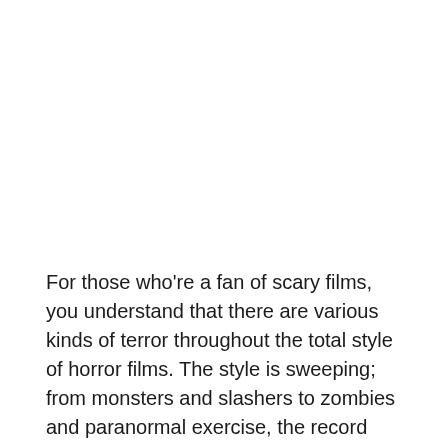For those who're a fan of scary films, you understand that there are various kinds of terror throughout the total style of horror films. The style is sweeping; from monsters and slashers to zombies and paranormal exercise, the record goes on. Some viewers favor a sure subsection of horror films to others, however they're all the identical in providing that little feeling of fright that you could be craving. Briefly, there are many totally different artistic...